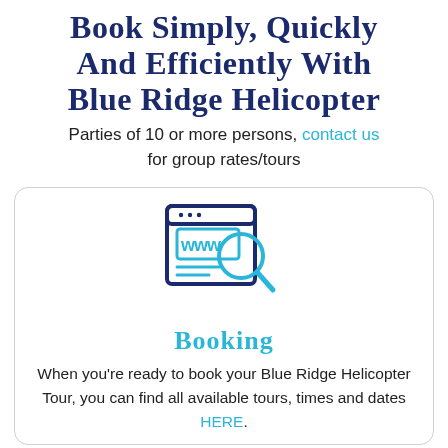Book Simply, Quickly and Efficiently With Blue Ridge Helicopter
Parties of 10 or more persons, contact us for group rates/tours
[Figure (illustration): Icon of a web browser window with 'www' text and a magnifying glass overlay, rendered in dark navy and cyan blue]
Booking
When you're ready to book your Blue Ridge Helicopter Tour, you can find all available tours, times and dates HERE.